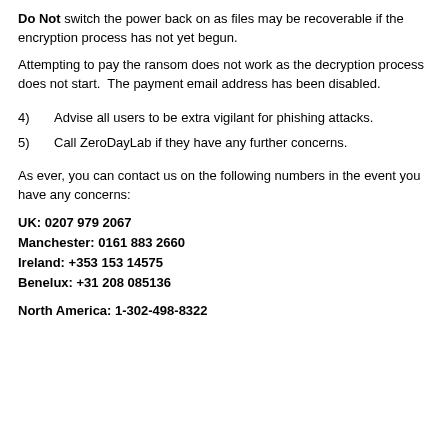Do Not switch the power back on as files may be recoverable if the encryption process has not yet begun.
Attempting to pay the ransom does not work as the decryption process does not start.  The payment email address has been disabled.
4)    Advise all users to be extra vigilant for phishing attacks.
5)    Call ZeroDayLab if they have any further concerns.
As ever, you can contact us on the following numbers in the event you have any concerns:
UK: 0207 979 2067
Manchester: 0161 883 2660
Ireland: +353 153 14575
Benelux: +31 208 085136
North America: 1-302-498-8322